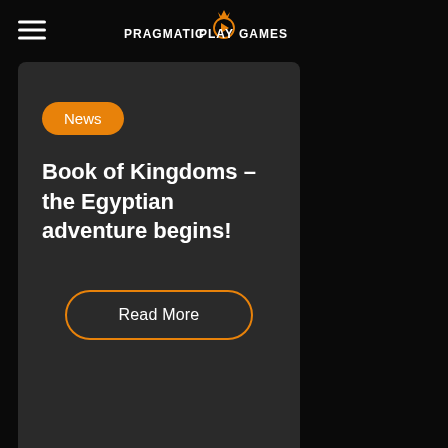PRAGMATIC PLAY GAMES
News
Book of Kingdoms – the Egyptian adventure begins!
Read More